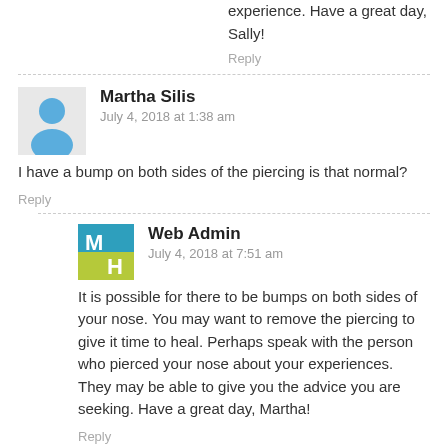experience. Have a great day, Sally!
Reply
Martha Silis
July 4, 2018 at 1:38 am
I have a bump on both sides of the piercing is that normal?
Reply
Web Admin
July 4, 2018 at 7:51 am
It is possible for there to be bumps on both sides of your nose. You may want to remove the piercing to give it time to heal. Perhaps speak with the person who pierced your nose about your experiences. They may be able to give you the advice you are seeking. Have a great day, Martha!
Reply